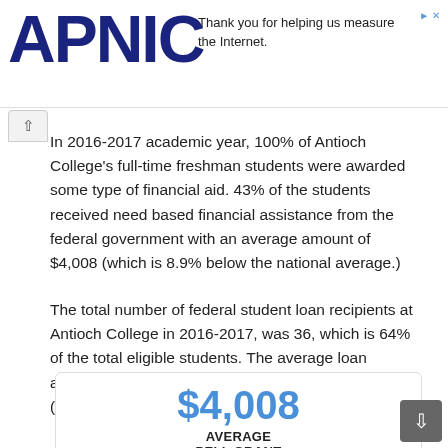APNIC — Thank you for helping us measure the Internet.
In 2016-2017 academic year, 100% of Antioch College's full-time freshman students were awarded some type of financial aid. 43% of the students received need based financial assistance from the federal government with an average amount of $4,008 (which is 8.9% below the national average.)
The total number of federal student loan recipients at Antioch College in 2016-2017, was 36, which is 64% of the total eligible students. The average loan amount given out to these students was $6,720 (which is 14% above the national average.)
$4,008 AVERAGE PELL GRANT (2016-2017)